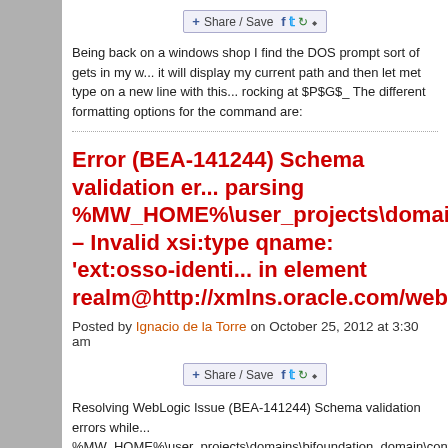[Figure (other): Share/Save social sharing button with Facebook, Twitter, and other icons]
Being back on a windows shop I find the DOS prompt sort of gets in my w... it will display my current path and then let met type on a new line with this... rocking at $P$G$_ The different formatting options for the command are:
Error (BEA-141244) Schema validation er... parsing %MW_HOME%\user_projects\domains\bi... – Invalid xsi:type qname: 'ext:osso-identi... in element realm@http://xmlns.oracle.com/weblogic...
Posted by Ignacio de la Torre on October 25, 2012 at 3:30 am
[Figure (other): Share/Save social sharing button with Facebook, Twitter, and other icons]
Resolving WebLogic Issue (BEA-141244) Schema validation errors while... %MW_HOME%\user_projects\domains\bifoundation_domain\config\confi... 'ext:osso-identity-asserterType' in element realm@http://xmlns.oracle.com...
Key Announcements by Larry Ellison @ t... Keynote